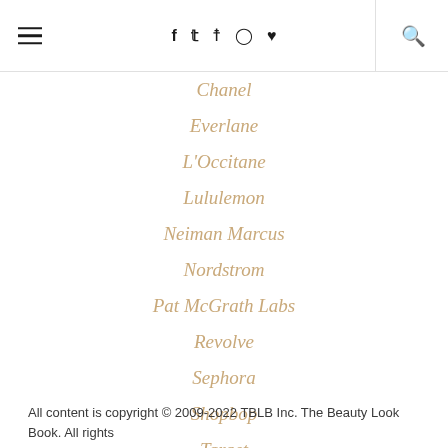≡  f  𝕏  ◻  ◻  ♥  🔍
Chanel
Everlane
L'Occitane
Lululemon
Neiman Marcus
Nordstrom
Pat McGrath Labs
Revolve
Sephora
Shopbop
Target
The Daily Edited
Violet Grey
All content is copyright © 2009-2022 TBLB Inc. The Beauty Look Book. All rights